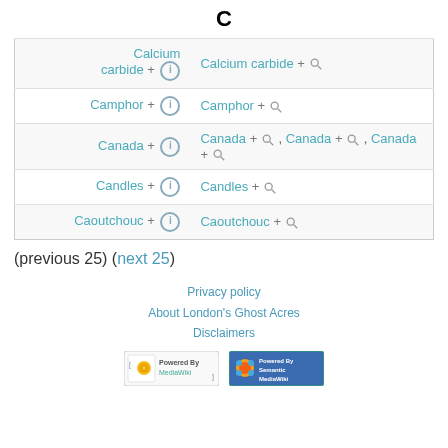C
| (left column) | (right column) |
| --- | --- |
| Calcium carbide + ⓘ | Calcium carbide + 🔍 |
| Camphor + ⓘ | Camphor + 🔍 |
| Canada + ⓘ | Canada + 🔍, Canada + 🔍, Canada + 🔍 |
| Candles + ⓘ | Candles + 🔍 |
| Caoutchouc + ⓘ | Caoutchouc + 🔍 |
(previous 25) (next 25)
Privacy policy
About London's Ghost Acres
Disclaimers
[Figure (logo): Powered by MediaWiki badge]
[Figure (logo): Powered by Semantic MediaWiki badge]